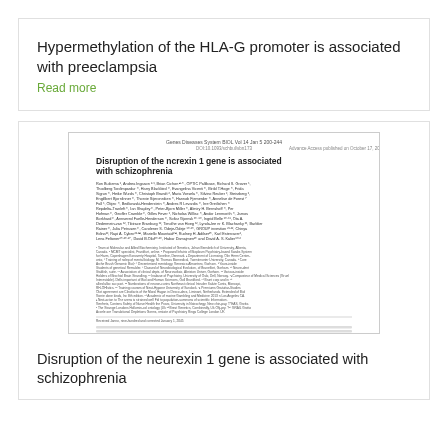Hypermethylation of the HLA-G promoter is associated with preeclampsia
Read more
[Figure (screenshot): Thumbnail image of a scientific paper titled 'Disruption of the ncrexin 1 gene is associated with schizophrenia' showing title, authors, affiliations, and abstract text.]
Disruption of the neurexin 1 gene is associated with schizophrenia